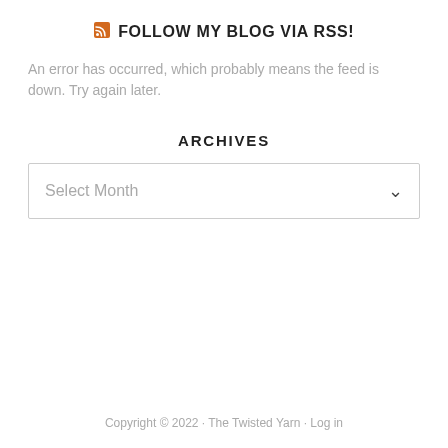FOLLOW MY BLOG VIA RSS!
An error has occurred, which probably means the feed is down. Try again later.
ARCHIVES
Select Month
Copyright © 2022 · The Twisted Yarn · Log in